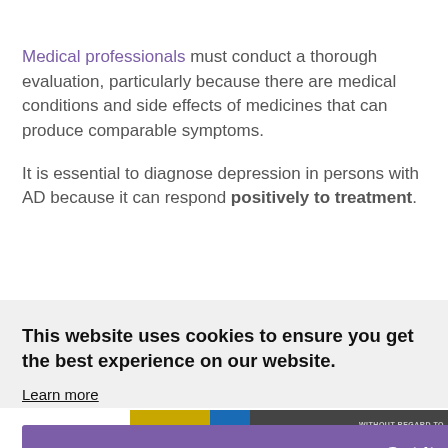Medical professionals must conduct a thorough evaluation, particularly because there are medical conditions and side effects of medicines that can produce comparable symptoms.
It is essential to diagnose depression in persons with AD because it can respond positively to treatment.
This website uses cookies to ensure you get the best experience on our website. Learn more
Got it